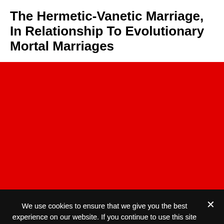The Hermetic-Vanetic Marriage, In Relationship To Evolutionary Mortal Marriages
[Figure (other): Large solid red rectangular area filling the middle section of the page, appearing to be a video or image placeholder.]
We use cookies to ensure that we give you the best experience on our website. If you continue to use this site we will assume that you are happy with it.